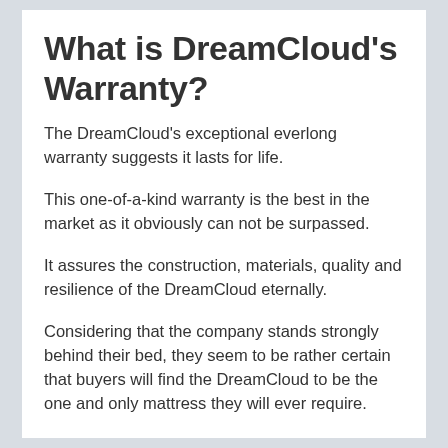What is DreamCloud's Warranty?
The DreamCloud's exceptional everlong warranty suggests it lasts for life.
This one-of-a-kind warranty is the best in the market as it obviously can not be surpassed.
It assures the construction, materials, quality and resilience of the DreamCloud eternally.
Considering that the company stands strongly behind their bed, they seem to be rather certain that buyers will find the DreamCloud to be the one and only mattress they will ever require.